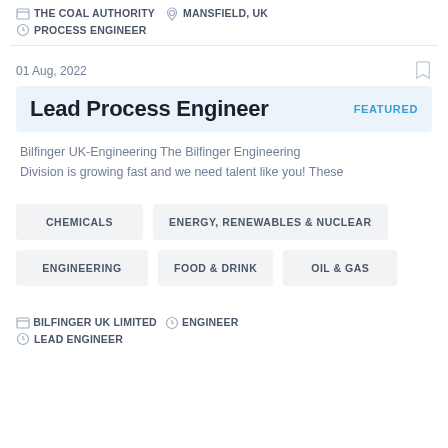THE COAL AUTHORITY  MANSFIELD, UK  PROCESS ENGINEER
01 Aug, 2022
Lead Process Engineer  FEATURED
Bilfinger UK-Engineering The Bilfinger Engineering Division is growing fast and we need talent like you! These
CHEMICALS
ENERGY, RENEWABLES & NUCLEAR
ENGINEERING
FOOD & DRINK
OIL & GAS
BILFINGER UK LIMITED  ENGINEER  LEAD ENGINEER